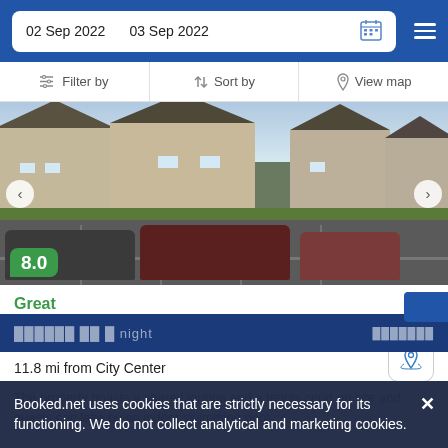02 Sep 2022   03 Sep 2022
Filter by   Sort by   View map
[Figure (photo): Exterior photo of a multi-building hotel/apartment complex with brick and siding buildings, dark roofs, a parking lot with cars in the foreground, and green trees/shrubs. Navigation arrows on left and right. Score badge showing 8.0 in lower left.]
Great
16 reviews
11.8 mi from Hamilton
11.8 mi from City Center
The property boasts a shared lounge and a tennis court on site and guests can laze by an indoor swimming pool.
Booked.net uses cookies that are strictly necessary for its functioning. We do not collect analytical and marketing cookies.